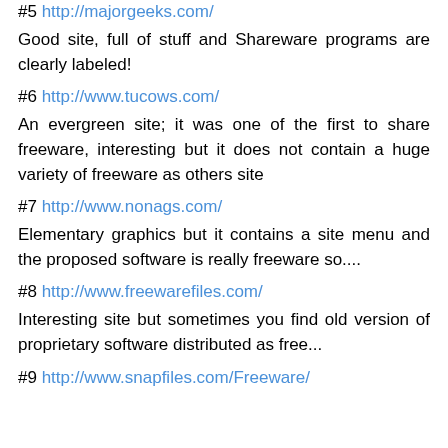#5 http://majorgeeks.com/
Good site, full of stuff and Shareware programs are clearly labeled!
#6 http://www.tucows.com/
An evergreen site; it was one of the first to share freeware, interesting but it does not contain a huge variety of freeware as others site
#7 http://www.nonags.com/
Elementary graphics but it contains a site menu and the proposed software is really freeware so....
#8 http://www.freewarefiles.com/
Interesting site but sometimes you find old version of proprietary software distributed as free...
#9 http://www.snapfiles.com/Freeware/